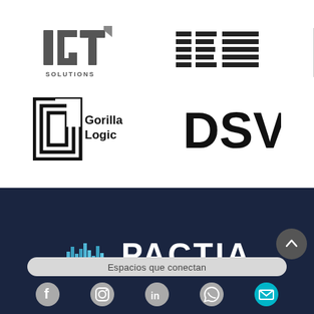[Figure (logo): IGT Solutions logo - top left]
[Figure (logo): IBM logo - top right with striped lettering and vertical divider line]
[Figure (logo): Gorilla Logic logo - bottom left of top section, square G icon with text]
[Figure (logo): DSV logo - bottom right of top section, bold black letters]
[Figure (logo): Pactia logo on dark navy background - skyline icon in blue/teal and white bold PACTIA text]
Espacios que conectan
[Figure (infographic): Social media icons row: Facebook, Instagram, LinkedIn, WhatsApp, Email (teal circle)]